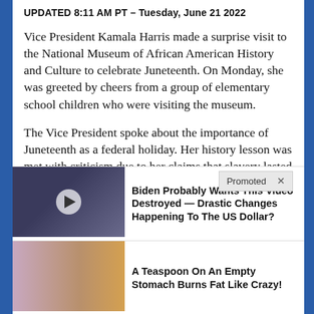UPDATED 8:11 AM PT – Tuesday, June 21 2022
Vice President Kamala Harris made a surprise visit to the National Museum of African American History and Culture to celebrate Juneteenth. On Monday, she was greeted by cheers from a group of elementary school children who were visiting the museum.
The Vice President spoke about the importance of Juneteenth as a federal holiday. Her history lesson was met with criticism due to her claims that slavery lasted for 400 years in the
[Figure (screenshot): Promoted advertisement banner with 'Promoted X' label overlaying article text]
[Figure (screenshot): Ad: Biden Probably Wants This Video Destroyed — Drastic Changes Happening To The US Dollar? with thumbnail of man in suit at desk]
[Figure (screenshot): Ad: A Teaspoon On An Empty Stomach Burns Fat Like Crazy! with thumbnail of woman and spice powder]